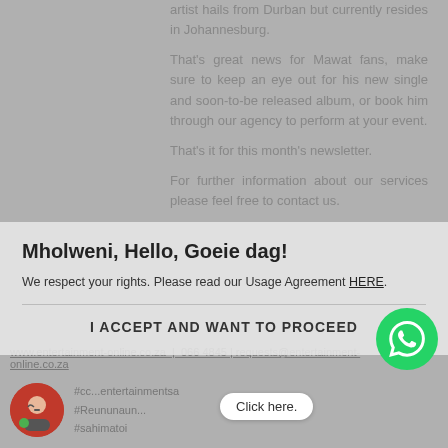artist hails from Durban but currently resides in Johannesburg.
That's great news for Mawat fans, make sure to keep an eye out for his new single and soon-to-be released album, or book him through our agency to perform at your event.
Mholweni, Hello, Goeie dag!
We respect your rights. Please read our Usage Agreement HERE.
That's it for this month's newsletter.
For further information about our services please feel free to contact us.
I ACCEPT AND WANT TO PROCEED
www.entertainment-online.co.za  |  066 4845 | requests@entertainment-online.co.za
#cc...entertainmentsa
#Reununaun...
#sahimatoi